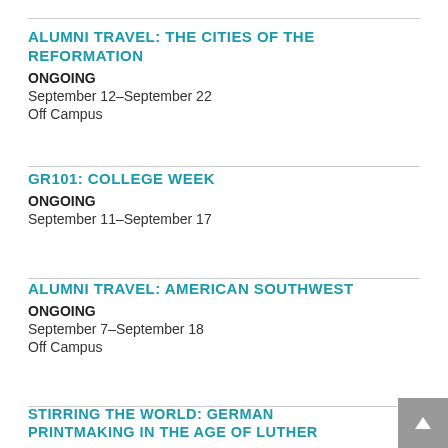ALUMNI TRAVEL: THE CITIES OF THE REFORMATION
ONGOING
September 12–September 22
Off Campus
GR101: COLLEGE WEEK
ONGOING
September 11–September 17
ALUMNI TRAVEL: AMERICAN SOUTHWEST
ONGOING
September 7–September 18
Off Campus
STIRRING THE WORLD: GERMAN PRINTMAKING IN THE AGE OF LUTHER